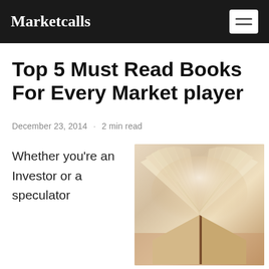Marketcalls
Top 5 Must Read Books For Every Market player
December 23, 2014 · 2 min read
Whether you're an Investor or a speculator
[Figure (photo): An open book with pages fanned out, photographed from above on a wooden surface with warm, soft lighting.]
Knowledge,Experience and discipline are the